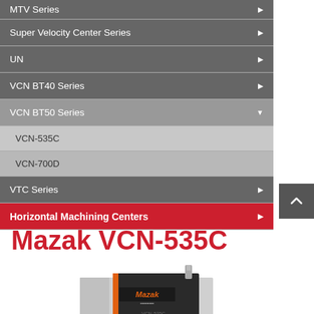MTV Series
Super Velocity Center Series
UN
VCN BT40 Series
VCN BT50 Series
VCN-535C
VCN-700D
VTC Series
Horizontal Machining Centers
Mazak VCN-535C
[Figure (photo): Mazak VCN-535C vertical machining center, gray and black with orange accent stripe, showing the machine body with Mazak branding and VCN-535C label]